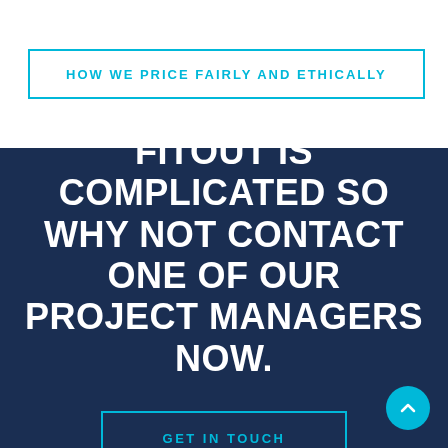HOW WE PRICE FAIRLY AND ETHICALLY
FITOUT IS COMPLICATED SO WHY NOT CONTACT ONE OF OUR PROJECT MANAGERS NOW.
GET IN TOUCH